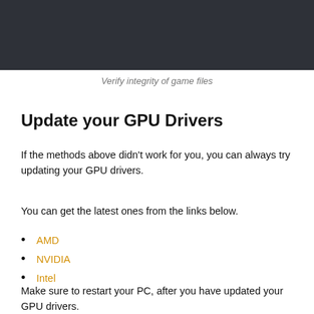[Figure (screenshot): Dark banner/header area at top of page]
Verify integrity of game files
Update your GPU Drivers
If the methods above didn't work for you, you can always try updating your GPU drivers.
You can get the latest ones from the links below.
AMD
NVIDIA
Intel
Make sure to restart your PC, after you have updated your GPU drivers.